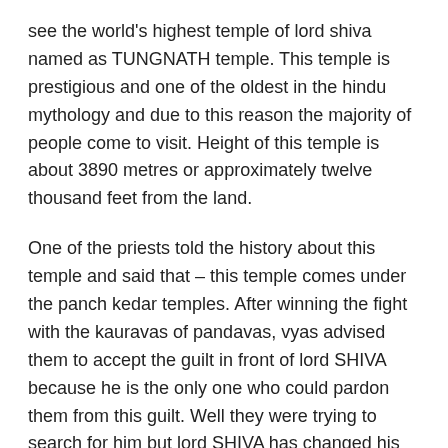see the world's highest temple of lord shiva named as TUNGNATH temple. This temple is prestigious and one of the oldest in the hindu mythology and due to this reason the majority of people come to visit. Height of this temple is about 3890 metres or approximately twelve thousand feet from the land.
One of the priests told the history about this temple and said that – this temple comes under the panch kedar temples. After winning the fight with the kauravas of pandavas, vyas advised them to accept the guilt in front of lord SHIVA because he is the only one who could pardon them from this guilt. Well they were trying to search for him but lord SHIVA has changed his look and become a bull in order to avoid pandavas because he did not want to meet them. Then after sometime he came back to his real look and pardoned for this guilt. This temple is also one of the parts of panch kedar and here you will find the hands of that bull and similarly in other